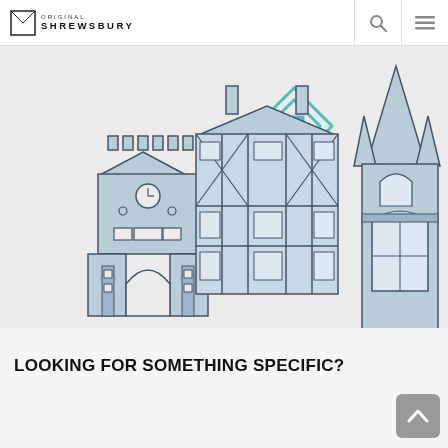Original Shrewsbury
[Figure (illustration): Illustrated line drawings of Shrewsbury landmarks: a gate/clock tower building, a Tudor half-timbered building, and a church spire, all rendered in light blue on grey background. A teal diamond map pin logo appears above the buildings.]
LOOKING FOR SOMETHING SPECIFIC?